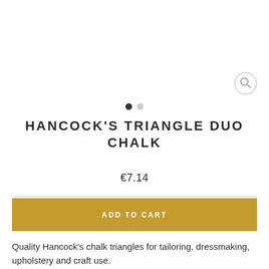[Figure (other): Product image area with magnify/zoom icon in top right corner]
HANCOCK'S TRIANGLE DUO CHALK
€7.14
ADD TO CART
Quality Hancock's chalk triangles for tailoring, dressmaking, upholstery and craft use.